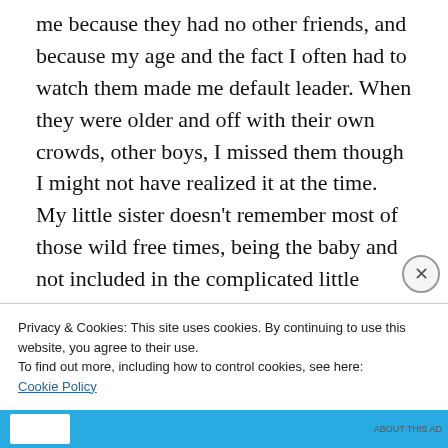me because they had no other friends, and because my age and the fact I often had to watch them made me default leader. When they were older and off with their own crowds, other boys, I missed them though I might not have realized it at the time. My little sister doesn't remember most of those wild free times, being the baby and not included in the complicated little hierarchy we had established in those road-days. She was 4 or 5 when we
Privacy & Cookies: This site uses cookies. By continuing to use this website, you agree to their use.
To find out more, including how to control cookies, see here:
Cookie Policy
Close and accept